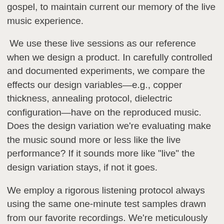gospel, to maintain current our memory of the live music experience.
We use these live sessions as our reference when we design a product. In carefully controlled and documented experiments, we compare the effects our design variables—e.g., copper thickness, annealing protocol, dielectric configuration—have on the reproduced music. Does the design variation we're evaluating make the music sound more or less like the live performance? If it sounds more like "live" the design variation stays, if not it goes.
We employ a rigorous listening protocol always using the same one-minute test samples drawn from our favorite recordings. We're meticulously careful about the quality of AC power during our listening